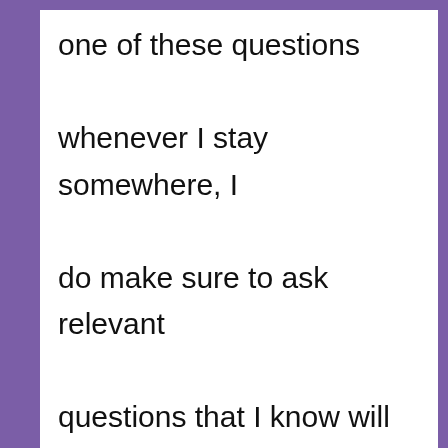one of these questions whenever I stay somewhere, I do make sure to ask relevant questions that I know will help me increase my independence. With these tips, low vision, legally blind, and blind travelers will be able to know